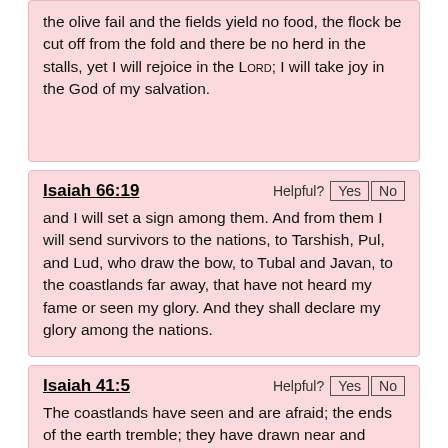the olive fail and the fields yield no food, the flock be cut off from the fold and there be no herd in the stalls, yet I will rejoice in the LORD; I will take joy in the God of my salvation.
Isaiah 66:19
and I will set a sign among them. And from them I will send survivors to the nations, to Tarshish, Pul, and Lud, who draw the bow, to Tubal and Javan, to the coastlands far away, that have not heard my fame or seen my glory. And they shall declare my glory among the nations.
Isaiah 41:5
The coastlands have seen and are afraid; the ends of the earth tremble; they have drawn near and come.